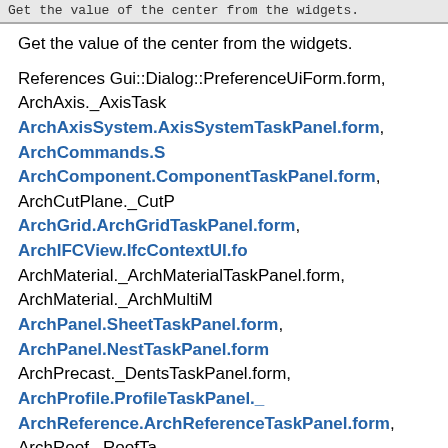Get the value of the center from the widgets.
Get the value of the center from the widgets.
References Gui::Dialog::PreferenceUiForm.form, ArchAxis._AxisTask, ArchAxisSystem.AxisSystemTaskPanel.form, ArchCommands.S, ArchComponent.ComponentTaskPanel.form, ArchCutPlane._CutP, ArchGrid.ArchGridTaskPanel.form, ArchIFCView.IfcContextUI.fo, ArchMaterial._ArchMaterialTaskPanel.form, ArchMaterial._ArchMultiM, ArchPanel.SheetTaskPanel.form, ArchPanel.NestTaskPanel.form, ArchPrecast._DentsTaskPanel.form, ArchProfile.ProfileTaskPanel._, ArchReference.ArchReferenceTaskPanel.form, ArchRoof._RoofTa, ArchSchedule.ArchScheduleTaskPanel.form, ArchSectionPlane., ArchStructure.StructureTaskPanel.form, ArchWindow._ArchWindo, DraftGui.DraftTaskPanel.form, DraftGui.DraftToolBar.form, Draftc, draftguitools.gui_annotationstyleeditor.AnnotationStyleEditor.fo, draftguitools.gui_groups.Ui_AddNamedGroup.form, draftguitools.gui_hatch.Draft_Hatch_TaskPanel.form, draftguitools.gui_setstyle.Draft_SetStyle_TaskPanel.form, drafttaskpanels.task_circulararray.TaskPanelCircularArray.form, drafttaskpanels.task_orthoarray.TaskPanelOrthoArray.form, drafttaskpanels.task_polararray.TaskPanelPolarArray.form,